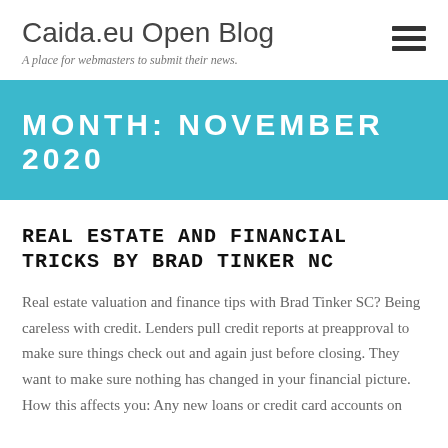Caida.eu Open Blog
A place for webmasters to submit their news.
MONTH: NOVEMBER 2020
REAL ESTATE AND FINANCIAL TRICKS BY BRAD TINKER NC
Real estate valuation and finance tips with Brad Tinker SC? Being careless with credit. Lenders pull credit reports at preapproval to make sure things check out and again just before closing. They want to make sure nothing has changed in your financial picture. How this affects you: Any new loans or credit card accounts on